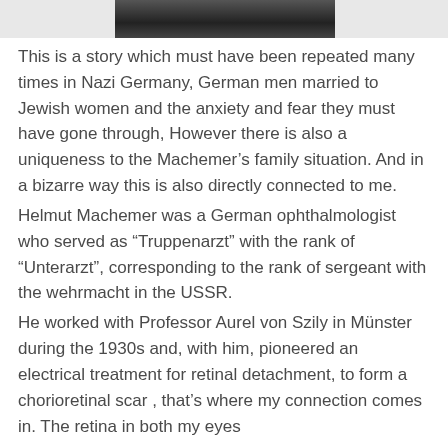[Figure (photo): Partial black and white photograph visible at the top of the page, cropped]
This is a story which must have been repeated many times in Nazi Germany, German men married to Jewish women and the anxiety and fear they must have gone through, However there is also a uniqueness to the Machemer’s family situation. And in a bizarre way this is also directly connected to me.
Helmut Machemer was a German ophthalmologist who served as “Truppenarzt” with the rank of “Unterarzt”, corresponding to the rank of sergeant with the wehrmacht in the USSR.
He worked with Professor Aurel von Szily in Münster during the 1930s and, with him, pioneered an electrical treatment for retinal detachment, to form a chorioretinal scar , that’s where my connection comes in. The retina in both my eyes